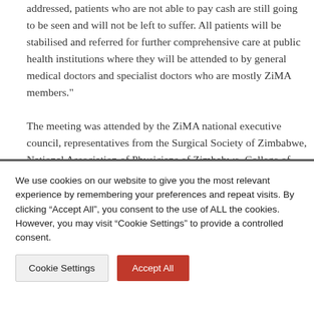addressed, patients who are not able to pay cash are still going to be seen and will not be left to suffer. All patients will be stabilised and referred for further comprehensive care at public health institutions where they will be attended to by general medical doctors and specialist doctors who are mostly ZiMA members."
The meeting was attended by the ZiMA national executive council, representatives from the Surgical Society of Zimbabwe, National Association of Physicians of Zimbabwe, College of Primary Health Care Physicians of
We use cookies on our website to give you the most relevant experience by remembering your preferences and repeat visits. By clicking “Accept All”, you consent to the use of ALL the cookies. However, you may visit "Cookie Settings" to provide a controlled consent.